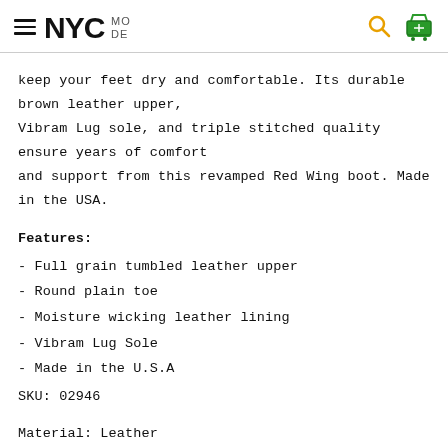NYC MODE
keep your feet dry and comfortable. Its durable brown leather upper, Vibram Lug sole, and triple stitched quality ensure years of comfort and support from this revamped Red Wing boot. Made in the USA.
Features:
- Full grain tumbled leather upper
- Round plain toe
- Moisture wicking leather lining
- Vibram Lug Sole
- Made in the U.S.A
SKU: 02946
Material: Leather
Color: Brown